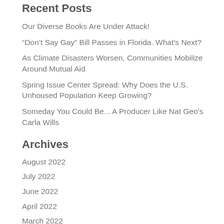Recent Posts
Our Diverse Books Are Under Attack!
“Don’t Say Gay” Bill Passes in Florida. What’s Next?
As Climate Disasters Worsen, Communities Mobilize Around Mutual Aid
Spring Issue Center Spread: Why Does the U.S. Unhoused Population Keep Growing?
Someday You Could Be... A Producer Like Nat Geo’s Carla Wills
Archives
August 2022
July 2022
June 2022
April 2022
March 2022